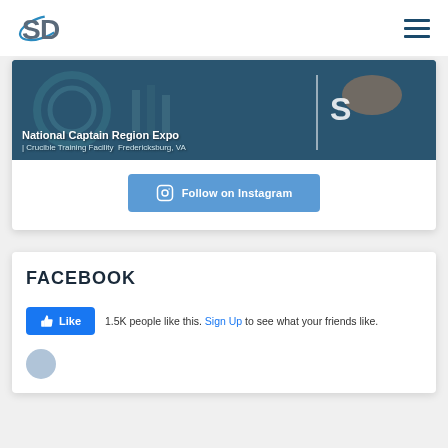[Figure (logo): SD logo with orbit arc in blue-gray]
[Figure (screenshot): Website hamburger menu icon (three horizontal dark blue lines)]
[Figure (photo): National Captain Region Expo event banner photo with text overlay: National Captain Region Expo | Crucible Training Facility Fredericksburg, VA]
Follow on Instagram
FACEBOOK
1.5K people like this. Sign Up to see what your friends like.